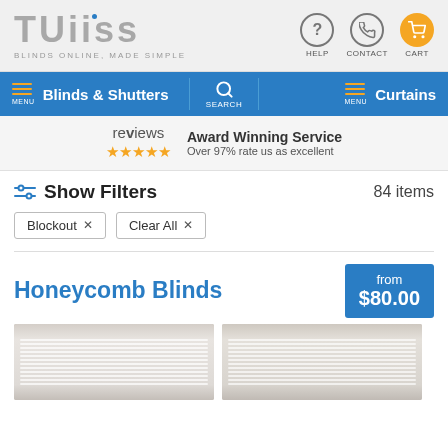TUISS - BLINDS ONLINE, MADE SIMPLE | HELP | CONTACT | CART
Blinds & Shutters | SEARCH | Curtains
reviews ★★★★★ Award Winning Service Over 97% rate us as excellent
Show Filters  84 items
Blockout ×
Clear All ×
Honeycomb Blinds
from $80.00
[Figure (photo): Two honeycomb blind product images showing white/cream colored blinds installed in windows]